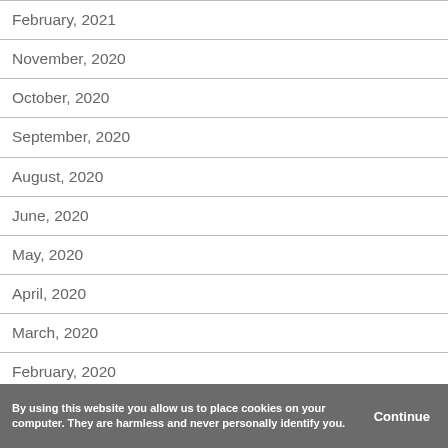February, 2021
November, 2020
October, 2020
September, 2020
August, 2020
June, 2020
May, 2020
April, 2020
March, 2020
February, 2020
November, 2019
By using this website you allow us to place cookies on your computer. They are harmless and never personally identify you. Continue